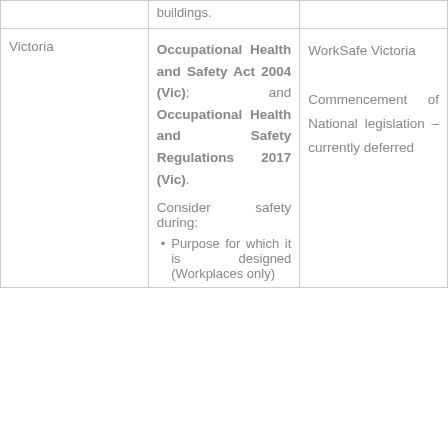| Jurisdiction | Legislation | Enforcing Body / Notes |
| --- | --- | --- |
|  | buildings. |  |
| Victoria | Occupational Health and Safety Act 2004 (Vic); and Occupational Health and Safety Regulations 2017 (Vic).

Consider safety during:
• Purpose for which it is designed (Workplaces only) | WorkSafe Victoria

Commencement of National legislation – currently deferred |